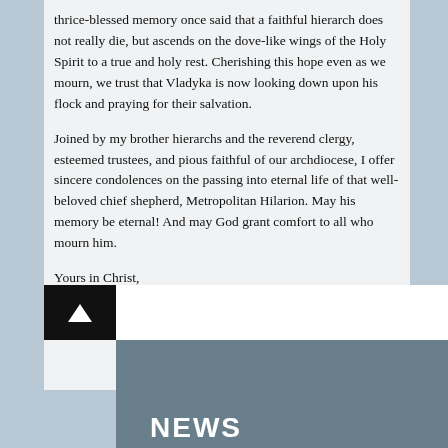thrice-blessed memory once said that a faithful hierarch does not really die, but ascends on the dove-like wings of the Holy Spirit to a true and holy rest. Cherishing this hope even as we mourn, we trust that Vladyka is now looking down upon his flock and praying for their salvation.
Joined by my brother hierarchs and the reverend clergy, esteemed trustees, and pious faithful of our archdiocese, I offer sincere condolences on the passing into eternal life of that well-beloved chief shepherd, Metropolitan Hilarion. May his memory be eternal! And may God grant comfort to all who mourn him.
Yours in Christ,
+JOSEPH
Archbishop of New York & Metropolitan of all North America
www.antiochian.org
NEWS